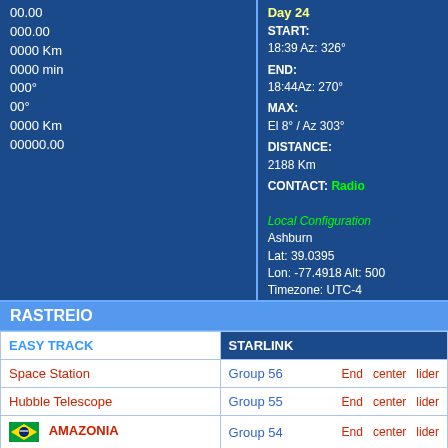00.00
000.00
0000 Km
0000 min
000°
00°
0000 Km
00000.00
Day 24
START:
18:39 Az: 326°
END:
18:44Az: 270°
MAX:
El 8° / Az 303°
DISTANCE:
2188 Km
CONTACT: Radio
Local Configuration
Ashburn
Lat: 39.0395
Lon: -77.4918  Alt: 500
Timezone: UTC-4
RASTREIO
| EASY TRACK | STARLINK |
| --- | --- |
| Space Station | Group 56   End  center  lider |
| Hubble Telescope | Group 55   End  center  lider |
| AMAZONIA | Group 54   End  center  lider |
| China Space Station |  |